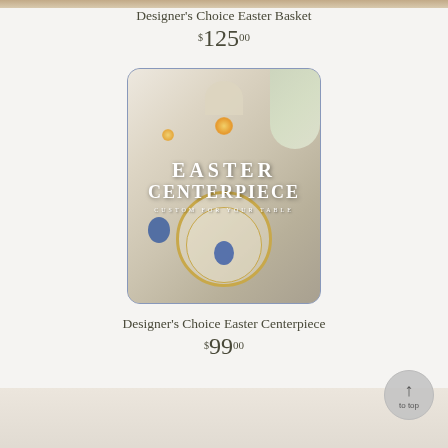[Figure (photo): Partial top image of Designer's Choice Easter Basket product (cropped at top of page)]
Designer's Choice Easter Basket
$125.00
[Figure (photo): Easter Centerpiece product photo showing a styled table setting with blue decorated eggs, candles, white flowers, gold-rimmed plate, and text overlay reading EASTER CENTERPIECE CUSTOM FOR YOUR TABLE]
Designer's Choice Easter Centerpiece
$99.00